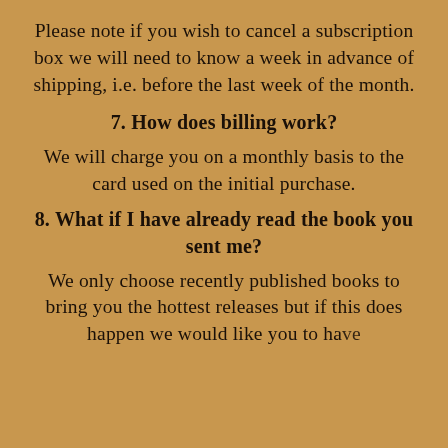Please note if you wish to cancel a subscription box we will need to know a week in advance of shipping, i.e. before the last week of the month.
7. How does billing work?
We will charge you on a monthly basis to the card used on the initial purchase.
8. What if I have already read the book you sent me?
We only choose recently published books to bring you the hottest releases but if this does happen we would like you to have…